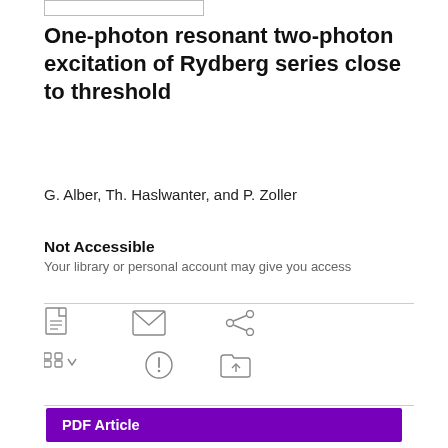One-photon resonant two-photon excitation of Rydberg series close to threshold
G. Alber, Th. Haslwanter, and P. Zoller
Not Accessible
Your library or personal account may give you access
[Figure (infographic): Row of action icons: PDF/document icon, envelope/email icon, share icon]
[Figure (infographic): Row of action icons: cite/quote icon with dropdown arrow, alert/exclamation icon, folder upload icon]
PDF Article
Abstract
Full Article